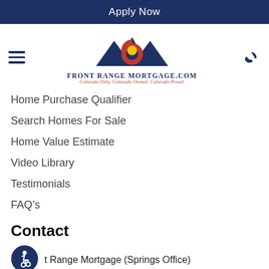Apply Now
[Figure (logo): Front Range Mortgage logo with mountain silhouette and Colorado flag symbol. Text: FRONT RANGE MORTGAGE.COM, Colorado Only. Colorado Owned. Colorado Proud.]
Home Purchase Qualifier
Search Homes For Sale
Home Value Estimate
Video Library
Testimonials
FAQ’s
Contact
Front Range Mortgage (Springs Office)
102 S Tejon St #1100